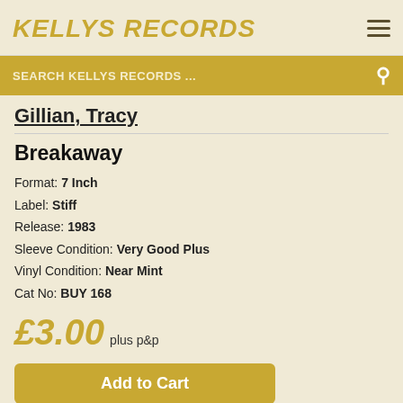KELLYS RECORDS
SEARCH KELLYS RECORDS ...
Gillian, Tracy
Breakaway
Format: 7 Inch
Label: Stiff
Release: 1983
Sleeve Condition: Very Good Plus
Vinyl Condition: Near Mint
Cat No: BUY 168
£3.00 plus p&p
Add to Cart